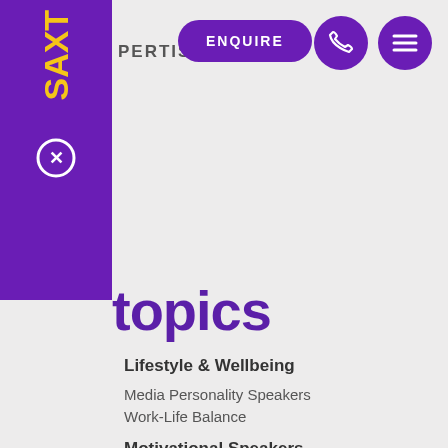[Figure (logo): Saxton Speakers Bureau vertical purple logo bar with SAXTON text in yellow and X in white circle]
PERTISE
ENQUIRE
topics
Lifestyle & Wellbeing
Media Personality Speakers
Work-Life Balance
Motivational Speakers
Inspiring Stories
Celebrity & Media
Sport